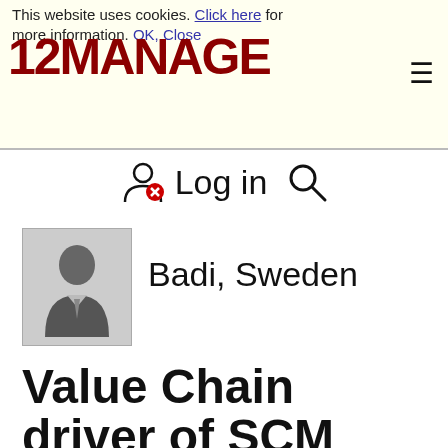This website uses cookies. Click here for more information. OK, Close
[Figure (logo): 12MANAGE logo in dark red bold text with hamburger menu icon]
Log in
[Figure (photo): Generic user avatar silhouette in grey box]
Badi, Sweden
Value Chain driver of SCM Remember that